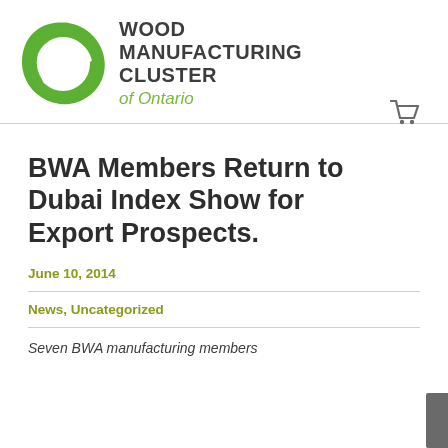[Figure (logo): Wood Manufacturing Cluster of Ontario logo with green swirl circle and text]
[Figure (other): Shopping cart icon]
BWA Members Return to Dubai Index Show for Export Prospects.
June 10, 2014
News, Uncategorized
Seven BWA manufacturing members